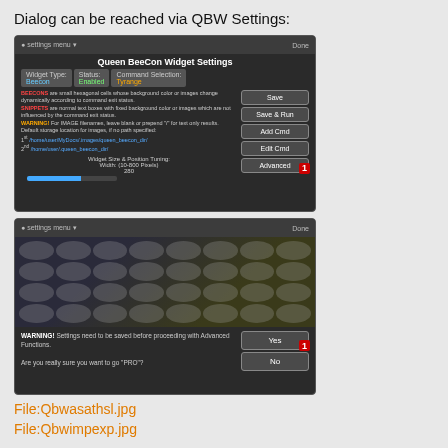Dialog can be reached via QBW Settings:
[Figure (screenshot): Screenshot of Queen BeeCon Widget Settings dialog showing Widget Type, Status, Command Selection tabs, Save/Save & Run/Add Cmd/Edit Cmd/Advanced buttons, and widget size/position tuning with width slider at 280. Advanced button has red badge '1'.]
[Figure (screenshot): Screenshot of QBW widget grid view with hexagonal cells blurred, and a confirmation dialog at bottom: 'WARNING! Settings need to be saved before proceeding with Advanced Functions. Are you really sure you want to go PRO?' with Yes (red badge 1) and No buttons.]
File:Qbwasathsl.jpg
File:Qbwimpexp.jpg
Section A: (Command TestDrive)